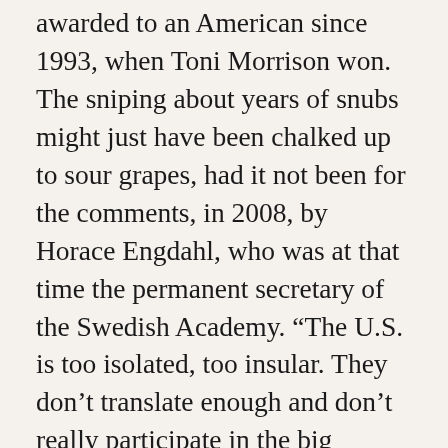awarded to an American since 1993, when Toni Morrison won. The sniping about years of snubs might just have been chalked up to sour grapes, had it not been for the comments, in 2008, by Horace Engdahl, who was at that time the permanent secretary of the Swedish Academy. “The U.S. is too isolated, too insular. They don’t translate enough and don’t really participate in the big dialogue of literature. That ignorance is restraining,” he said. Not everything in the remark was outrageous; American publishers do translate too few books from other languages into English—just three per cent of books published each year are translations. Yet his remarks overlooked the fact that more than sixty million Americans speak a primary language other than English—meaning that the United